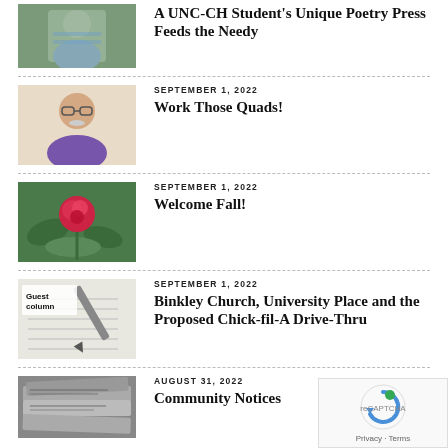[Figure (photo): Partial view of an article thumbnail showing a man in a blue striped shirt outdoors with trees in background]
A UNC-CH Student's Unique Poetry Press Feeds the Needy
SEPTEMBER 1, 2022
[Figure (photo): Photo of an older man with glasses and white mustache, wearing a purple shirt, smiling]
Work Those Quads!
SEPTEMBER 1, 2022
[Figure (photo): Photo of a red rose with green leaves in a garden]
Welcome Fall!
SEPTEMBER 1, 2022
[Figure (photo): Guest column image showing a pen/fountain pen on paper with text 'Guest column' overlaid]
Binkley Church, University Place and the Proposed Chick-fil-A Drive-Thru
AUGUST 31, 2022
[Figure (photo): Photo of a stack of newspapers]
Community Notices
[Figure (other): reCAPTCHA badge showing Privacy and Terms]